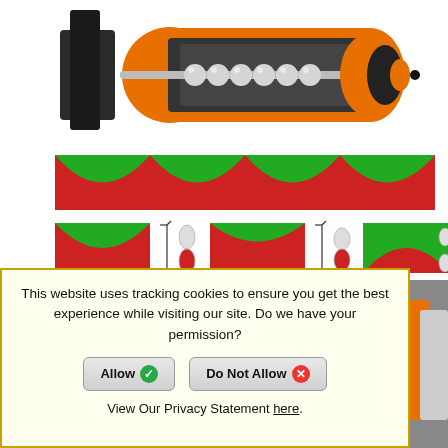[Figure (engineering-diagram): Cutaway/cross-section 3D render of an orange and black dispensing valve/pump assembly showing internal ball screw mechanism with silver balls along a shaft inside an orange housing]
[Figure (engineering-diagram): Wave pattern diagram showing alternating red and green sinusoidal shapes representing continuous volume cavities in dispensing motion]
[Figure (engineering-diagram): Three cross-section diagrams showing rotor positions at different points in dispensing cycle, with bracket arrows and small cylindrical rotor icons (red and white) next to each cross-section]
Continous volume cavaties with constant volume exist at all points in the dispensing motion.
[Figure (photo): Partial background photo of industrial dispensing equipment, orange and silver machinery visible]
This website uses tracking cookies to ensure you get the best experience while visiting our site. Do we have your permission?
Allow  Do Not Allow
View Our Privacy Statement here.